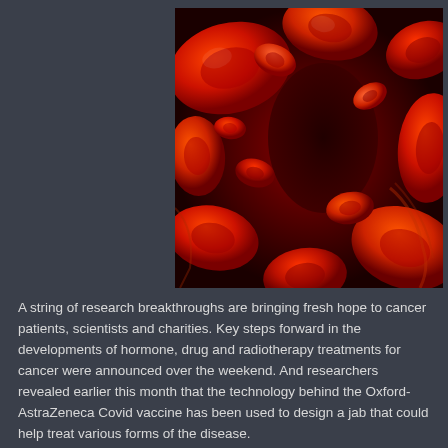[Figure (photo): Close-up microscopic illustration of red blood cells flowing through a blood vessel, showing numerous biconcave disc-shaped erythrocytes in vivid red against a dark background.]
A string of research breakthroughs are bringing fresh hope to cancer patients, scientists and charities. Key steps forward in the developments of hormone, drug and radiotherapy treatments for cancer were announced over the weekend. And researchers revealed earlier this month that the technology behind the Oxford-AstraZeneca Covid vaccine has been used to design a jab that could help treat various forms of the disease.